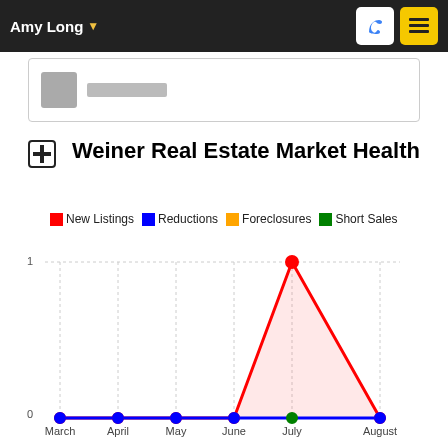Amy Long
Weiner Real Estate Market Health
[Figure (line-chart): Weiner Real Estate Market Health]